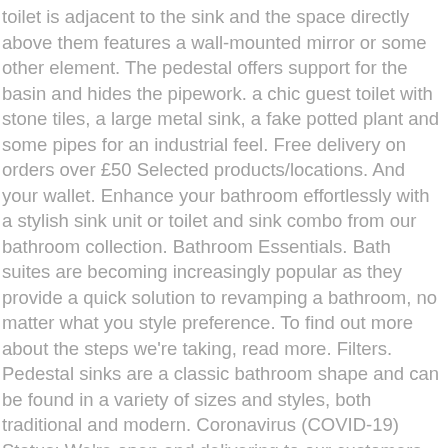toilet is adjacent to the sink and the space directly above them features a wall-mounted mirror or some other element. The pedestal offers support for the basin and hides the pipework. a chic guest toilet with stone tiles, a large metal sink, a fake potted plant and some pipes for an industrial feel. Free delivery on orders over £50 Selected products/locations. And your wallet. Enhance your bathroom effortlessly with a stylish sink unit or toilet and sink combo from our bathroom collection. Bathroom Essentials. Bath suites are becoming increasingly popular as they provide a quick solution to revamping a bathroom, no matter what you style preference. To find out more about the steps we're taking, read more. Filters. Pedestal sinks are a classic bathroom shape and can be found in a variety of sizes and styles, both traditional and modern. Coronavirus (COVID-19) Status: We're open and delivering to our customers safely. The ENHET bathroom series is not only easy to buy and assemble, it's also a breeze to find the perfect combination of counter top space, organisation, and open and closed storage that works for you. Contemporary versions of the 3-piece replace the bath with a shower unit. 1-16 of over 5,000 results for "toilet sink" Skip to main search results Eligible for Free Shipping. Martin explains with all the best space savers, the All In One Toilet Hand Basin